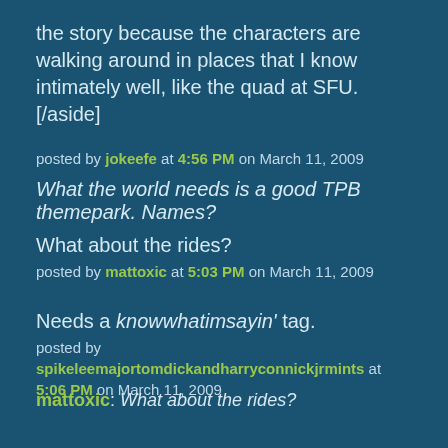the story because the characters are walking around in places that I know intimately well, like the quad at SFU. [/aside]
posted by jokeefe at 4:56 PM on March 11, 2009
What the world needs is a good TPB themepark. Names?
What about the rides?
posted by mattoxic at 5:03 PM on March 11, 2009
Needs a knowwhatimsayin' tag.
posted by spikeleemajortomdickandharryconnickjrmints at 5:06 PM on March 11, 2009
mattoxic: What about the rides?